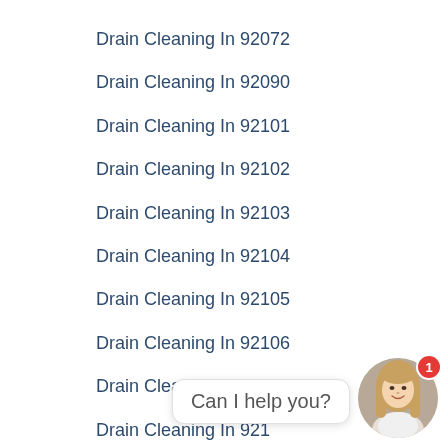Drain Cleaning In 92072
Drain Cleaning In 92090
Drain Cleaning In 92101
Drain Cleaning In 92102
Drain Cleaning In 92103
Drain Cleaning In 92104
Drain Cleaning In 92105
Drain Cleaning In 92106
Drain Cleaning In 92107
Drain Cleaning In 921...
[Figure (screenshot): Chat widget with female avatar photo, red notification badge showing '1', and speech bubble saying 'Can I help you?']